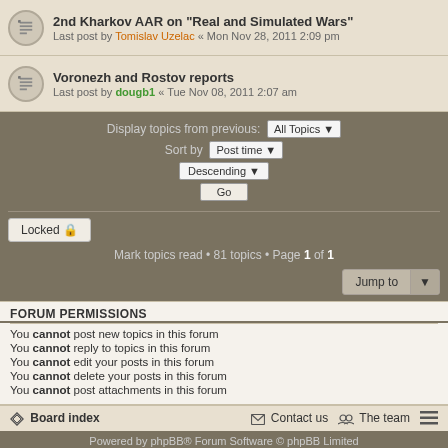2nd Kharkov AAR on "Real and Simulated Wars" - Last post by Tomislav Uzelac « Mon Nov 28, 2011 2:09 pm
Voronezh and Rostov reports - Last post by dougb1 « Tue Nov 08, 2011 2:07 am
Display topics from previous: All Topics ▼
Sort by: Post time ▼
Descending ▼
Go
Locked 🔒
Mark topics read • 81 topics • Page 1 of 1
Jump to ▼
FORUM PERMISSIONS
You cannot post new topics in this forum
You cannot reply to topics in this forum
You cannot edit your posts in this forum
You cannot delete your posts in this forum
You cannot post attachments in this forum
Board index  •  Contact us  •  The team
Powered by phpBB® Forum Software © phpBB Limited